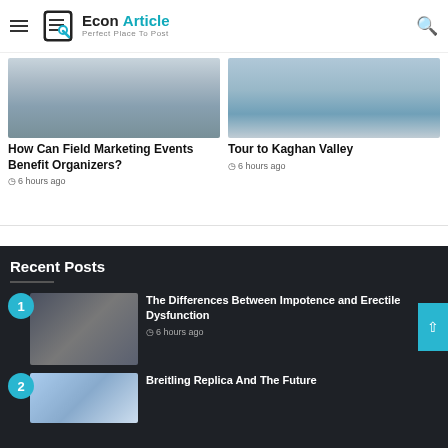Econ Article — Perfect Place To Post
[Figure (photo): Photo of people sitting in a waiting room or field marketing event venue]
How Can Field Marketing Events Benefit Organizers?
6 hours ago
[Figure (photo): Photo related to Tour to Kaghan Valley — scenic view]
Tour to Kaghan Valley
6 hours ago
Recent Posts
[Figure (photo): Photo of a man with his head in his hands, related to impotence and erectile dysfunction article]
The Differences Between Impotence and Erectile Dysfunction
6 hours ago
[Figure (photo): Thumbnail for Breitling Replica article]
Breitling Replica And The Future